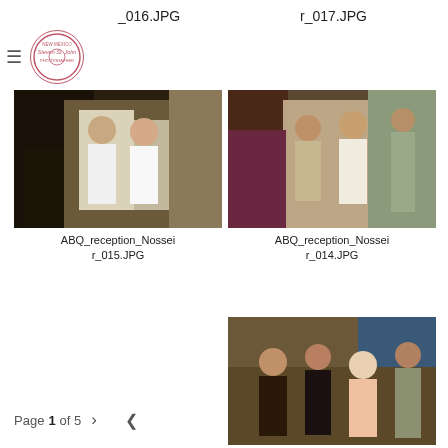_016.JPG
r_017.JPG
[Figure (logo): Circular stamp logo reading New Mexico Steven St. John Photographer]
[Figure (photo): Wedding reception photo showing a couple in white attire posing together indoors with guests in background]
ABQ_reception_Nosseir_015.JPG
[Figure (photo): Wedding reception photo showing women in formal attire conversing at indoor venue]
ABQ_reception_Nosseir_014.JPG
[Figure (photo): Wedding reception photo showing group of guests seated and standing at indoor venue]
Page 1 of 5